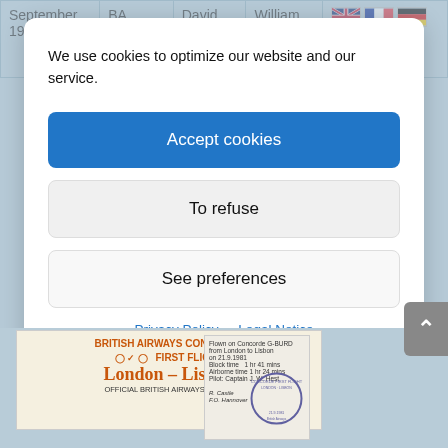|  |  |  |  |  |
| --- | --- | --- | --- | --- |
| September 19 | BA 9081 and 9082 | David Leney | William LOWE | [flags] Mac DONALD |
We use cookies to optimize our website and our service.
Accept cookies
To refuse
See preferences
Privacy Policy   Legal Notice
[Figure (photo): British Airways Concorde First Flight London-Lisbon official cover with stamp]